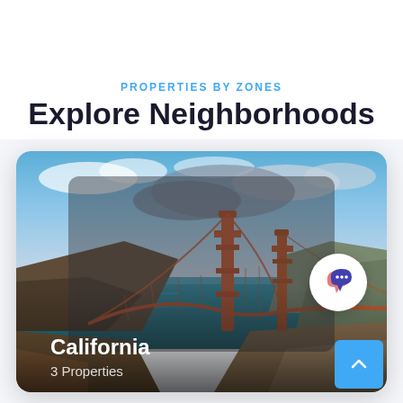PROPERTIES BY ZONES
Explore Neighborhoods
[Figure (photo): Neighborhood card showing Golden Gate Bridge in California with water, hills and dramatic sky. Card contains location label 'California' and '3 Properties'. A chat bubble icon and a scroll-to-top arrow button are overlaid on the image.]
California
3 Properties